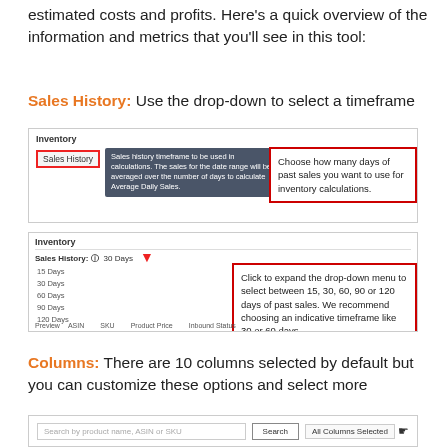estimated costs and profits. Here's a quick overview of the information and metrics that you'll see in this tool:
Sales History: Use the drop-down to select a timeframe
[Figure (screenshot): Screenshot of Inventory panel with Sales History button highlighted in red border, tooltip showing 'Sales history timeframe to be used in calculations...' and callout box saying 'Choose how many days of past sales you want to use for inventory calculations.']
[Figure (screenshot): Screenshot of Inventory panel with Sales History dropdown expanded showing 15 Days, 30 Days, 60 Days, 90 Days, 120 Days options, red arrow pointing to dropdown, callout box saying 'Click to expand the drop-down menu to select between 15, 30, 60, 90 or 120 days of past sales. We recommend choosing an indicative timeframe like 30 or 60 days']
Columns: There are 10 columns selected by default but you can customize these options and select more
[Figure (screenshot): Screenshot of search bar with placeholder text, Search button, and All Columns Selected button with cursor icon]